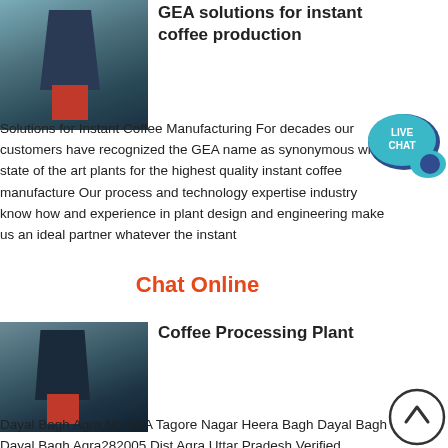[Figure (photo): Industrial spray dryer or coffee processing plant equipment in a facility, cylindrical blue/grey tower with red base component.]
GEA solutions for instant coffee production
Solutions for Instant Coffee Manufacturing For decades our customers have recognized the GEA name as synonymous with state of the art plants for the highest quality instant coffee manufacture Our process and technology expertise industry know how and experience in plant design and engineering make us an ideal partner whatever the instant
[Figure (illustration): Live Chat button - teal speech bubble with text LIVE CHAT]
Chat Online
[Figure (photo): Industrial coffee processing plant equipment, dark industrial machinery in a facility.]
Coffee Processing Plant
Dayal Bagh Agra No 14 A Tagore Nagar Heera Bagh Dayal Bagh Dayal Bagh Agra282005 Dist Agra Uttar Pradesh Verified Supplier Company Video View Mobile Number Call 91 Dial Ext 301 when connected Contact
[Figure (illustration): Scroll to top / up arrow button - circle with upward chevron inside]